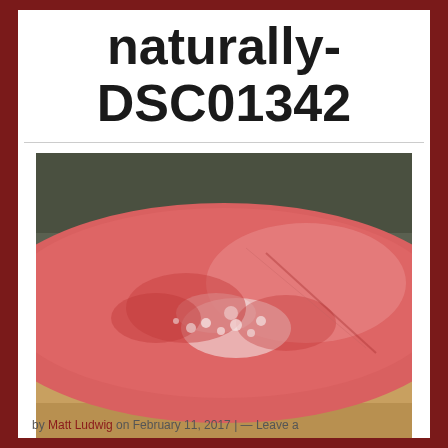naturally-DSC01342
[Figure (photo): Close-up photograph of a human limb (arm or leg) showing red, inflamed, scaly skin consistent with a skin condition such as eczema or psoriasis. The skin appears significantly reddened with white scaling patches.]
by Matt Ludwig on February 11, 2017 | — Leave a